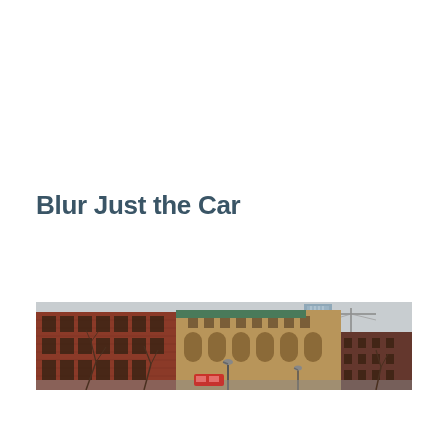Blur Just the Car
[Figure (photo): Photograph of a row of historic red brick buildings along a city street, with a modern glass skyscraper and a construction crane visible in the background. Bare trees line the street in front of the buildings.]